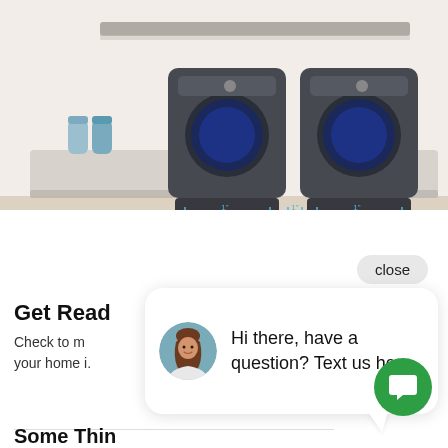[Figure (illustration): Illustration of a laundry room with two front-loading washer and dryer machines (dark gray) on pedestals, with dimension arrows below, set of blue detergent bottles on the left counter, an orange container and blue bin on the right counter, and a shelf above.]
close
[Figure (screenshot): Chat widget popup showing a woman's avatar photo and the message: Hi there, have a question? Text us here.]
Hi there, have a question? Text us here.
Get Read
Check to m your home i.